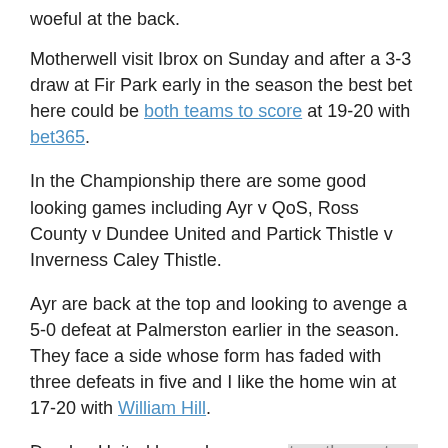woeful at the back.
Motherwell visit Ibrox on Sunday and after a 3-3 draw at Fir Park early in the season the best bet here could be both teams to score at 19-20 with bet365.
In the Championship there are some good looking games including Ayr v QoS, Ross County v Dundee United and Partick Thistle v Inverness Caley Thistle.
Ayr are back at the top and looking to avenge a 5-0 defeat at Palmerston earlier in the season. They face a side whose form has faded with three defeats in five and I like the home win at 17-20 with William Hill.
Dundee United have done me a turn the past few weeks and I'm backing Robbie Neilson to maintain his unbeaten record by taking a point at Dingwall. The draw pays 11-4 at Betway.